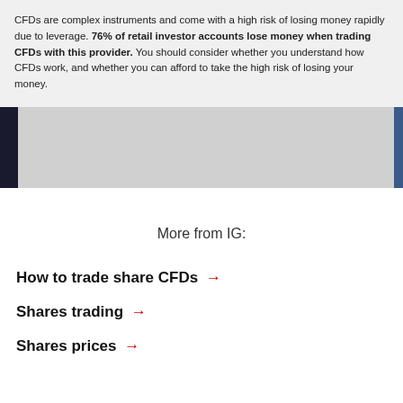CFDs are complex instruments and come with a high risk of losing money rapidly due to leverage. 76% of retail investor accounts lose money when trading CFDs with this provider. You should consider whether you understand how CFDs work, and whether you can afford to take the high risk of losing your money.
[Figure (photo): Partial image strip showing a dark left edge and a blue-toned right edge, representing a cropped photograph]
More from IG:
How to trade share CFDs →
Shares trading →
Shares prices →